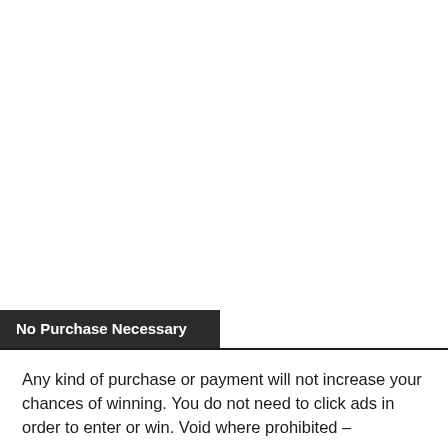No Purchase Necessary
Any kind of purchase or payment will not increase your chances of winning. You do not need to click ads in order to enter or win. Void where prohibited –